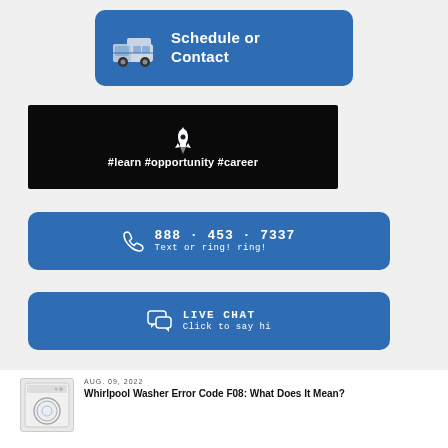[Figure (infographic): Blue rounded button with van icon and text 'Schedule or Contact']
[Figure (infographic): Dark/black banner with rocket icon and hashtags: #learn #opportunity #career]
[Figure (infographic): Blue rounded banner with phone icon, phone number 888 - 453 - 7337 and text 'Text or ring! ring!']
[Figure (infographic): Blue rounded banner with chat bubbles icon, 'LIVE CHAT' and 'Click to say hi']
AUG. 09, 2022
Whirlpool Washer Error Code F08: What Does It Mean?